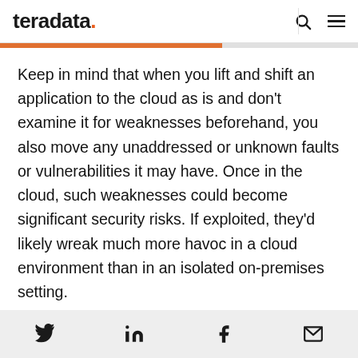teradata.
Keep in mind that when you lift and shift an application to the cloud as is and don't examine it for weaknesses beforehand, you also move any unaddressed or unknown faults or vulnerabilities it may have. Once in the cloud, such weaknesses could become significant security risks. If exploited, they'd likely wreak much more havoc in a cloud environment than in an isolated on-premises setting.
Twitter, LinkedIn, Facebook, Email social share icons